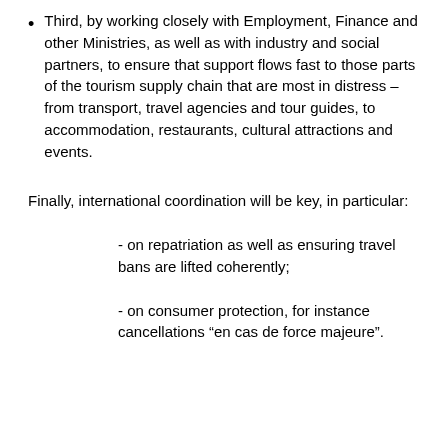Third, by working closely with Employment, Finance and other Ministries, as well as with industry and social partners, to ensure that support flows fast to those parts of the tourism supply chain that are most in distress – from transport, travel agencies and tour guides, to accommodation, restaurants, cultural attractions and events.
Finally, international coordination will be key, in particular:
- on repatriation as well as ensuring travel bans are lifted coherently;
- on consumer protection, for instance cancellations “en cas de force majeure”.